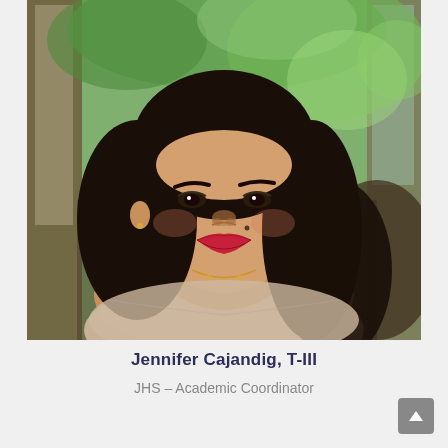[Figure (photo): Portrait photo of Jennifer Cajandig, a woman with long dark hair, red lipstick, wearing a light-colored top and gold necklace, smiling, photographed indoors near a window with greenery visible in the background.]
Jennifer Cajandig, T-III
JHS – Academic Coordinator